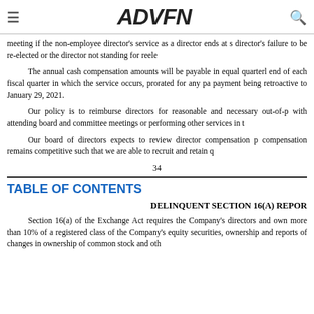≡  ADVFN  🔍
meeting if the non-employee director's service as a director ends at s director's failure to be re-elected or the director not standing for reele
The annual cash compensation amounts will be payable in equal quarterl end of each fiscal quarter in which the service occurs, prorated for any pa payment being retroactive to January 29, 2021.
Our policy is to reimburse directors for reasonable and necessary out-of-p with attending board and committee meetings or performing other services in t
Our board of directors expects to review director compensation p compensation remains competitive such that we are able to recruit and retain q
34
TABLE OF CONTENTS
DELINQUENT SECTION 16(A) REPOR
Section 16(a) of the Exchange Act requires the Company's directors and own more than 10% of a registered class of the Company's equity securities, ownership and reports of changes in ownership of common stock and oth